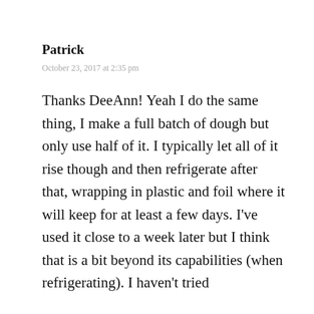Patrick
October 23, 2017 at 2:35 pm
Thanks DeeAnn! Yeah I do the same thing, I make a full batch of dough but only use half of it. I typically let all of it rise though and then refrigerate after that, wrapping in plastic and foil where it will keep for at least a few days. I've used it close to a week later but I think that is a bit beyond its capabilities (when refrigerating). I haven't tried